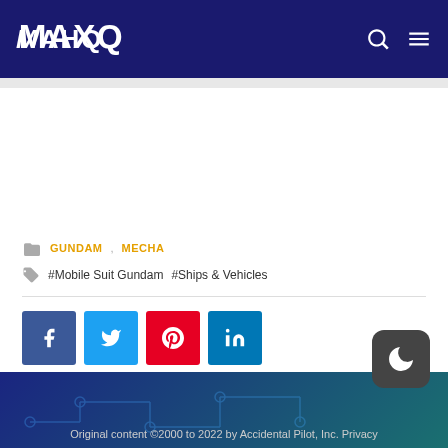MAHQ
GUNDAM   MECHA
#Mobile Suit Gundam   #Ships & Vehicles
[Figure (infographic): Social share buttons: Facebook (blue), Twitter (light blue), Pinterest (red), LinkedIn (blue)]
Original content ©2000 to 2022 by Accidental Pilot, Inc. Privacy